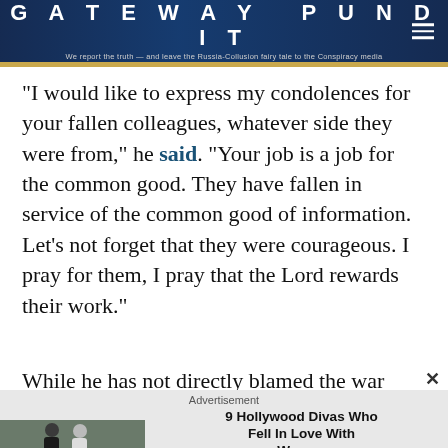GATEWAY PUNDIT — We report the truth — and leave the Russia-Collusion fairy tale to the Conspiracy media
“I would like to express my condolences for your fallen colleagues, whatever side they were from,” he said. “Your job is a job for the common good. They have fallen in service of the common good of information. Let’s not forget that they were courageous. I pray for them, I pray that the Lord rewards their work.”
While he has not directly blamed the war on Putin
[Figure (photo): Advertisement: 9 Hollywood Divas Who Fell In Love With Women — Herbeauty. Shows two women posing.]